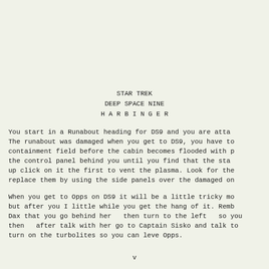STAR TREK
DEEP SPACE NINE
H A R B I N G E R
You start in a Runabout heading for DS9 and you are atta… The runabout was damaged when you get to DS9, you have to… containment field before the cabin becomes flooded with p… the control panel behind you until you find that the sta… up click on it the first to vent the plasma. Look for the… replace them by using the side panels over the damaged on…
When you get to Opps on DS9 it will be a little tricky mo… but after you I little while you get the hang of it. Remb… Dax that you go behind her  then turn to the left  so you… then  after talk with her go to Captain Sisko and talk to… turn on the turbolites so you can leve Opps.
v